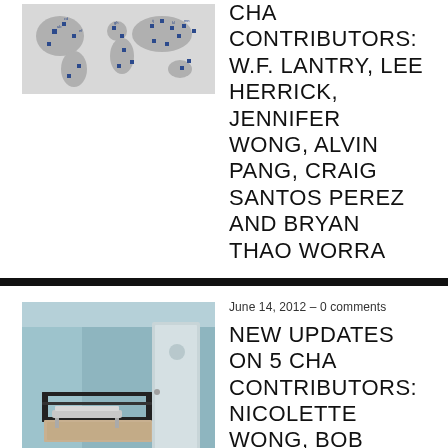[Figure (map): World map with blue location markers/pins scattered across various continents on a light gray background]
CHA CONTRIBUTORS: W.F. LANTRY, LEE HERRICK, JENNIFER WONG, ALVIN PANG, CRAIG SANTOS PEREZ AND BRYAN THAO WORRA
[Figure (photo): Interior room with an iron bed frame, white walls, a bench against the wall, a door and window visible, photographed in muted blue tones]
June 14, 2012 – 0 comments
NEW UPDATES ON 5 CHA CONTRIBUTORS: NICOLETTE WONG, BOB BRADSHAW, JOHN MCKERNAN, MARC VINCENZ AND W.F. LANTRY